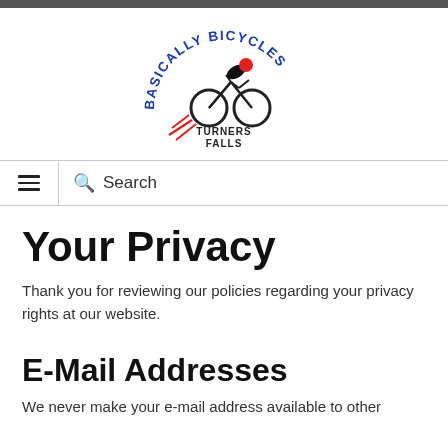[Figure (logo): Basically Bicycles Turners Falls logo — circular arc text 'BASICALLY BICYCLES' in blue, with a cyclist figure in black and red in center, text 'TURNERS FALLS' below]
Your Privacy
Thank you for reviewing our policies regarding your privacy rights at our website.
E-Mail Addresses
We never make your e-mail address available to other